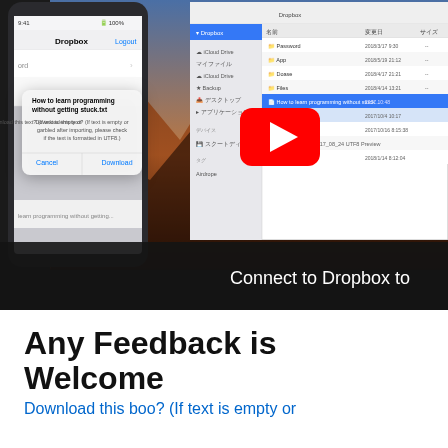[Figure (screenshot): YouTube video thumbnail showing a Dropbox tutorial. Left side shows an iPhone with the Dropbox app open displaying a download dialog popup for 'How to learn programming without getting stuck.txt'. Center has a large YouTube play button. Right side shows a macOS Finder window with Dropbox files. Bottom overlay shows text 'Connect to Dropbox to...']
Any Feedback is Welcome
Download this boo? (If text is empty or garbled after importing, please check if the text is formatted in UTF8.)